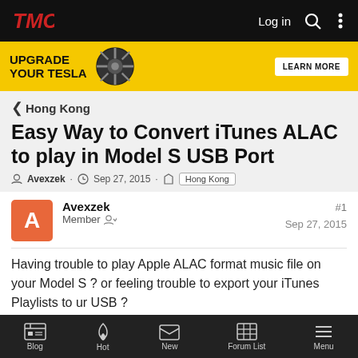TMC — Log in
[Figure (other): Yellow advertisement banner: UPGRADE YOUR TESLA with a wheel image and LEARN MORE button]
< Hong Kong
Easy Way to Convert iTunes ALAC to play in Model S USB Port
Avexzek · Sep 27, 2015 · Hong Kong
Avexzek
Member
#1
Sep 27, 2015
Having trouble to play Apple ALAC format music file on your Model S ? or feeling trouble to export your iTunes Playlists to ur USB ?
Blog  Hot  New  Forum List  Menu